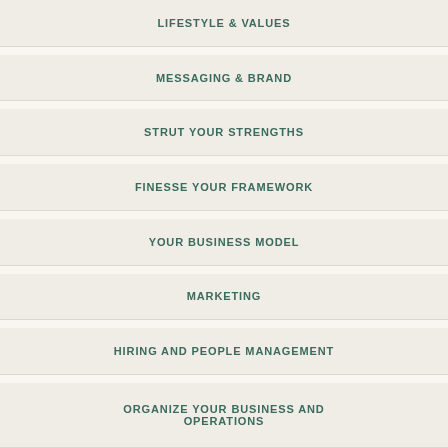LIFESTYLE & VALUES
MESSAGING & BRAND
STRUT YOUR STRENGTHS
FINESSE YOUR FRAMEWORK
YOUR BUSINESS MODEL
MARKETING
HIRING AND PEOPLE MANAGEMENT
ORGANIZE YOUR BUSINESS AND OPERATIONS